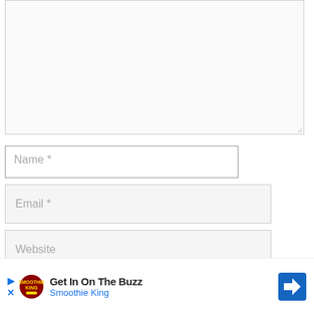[Figure (screenshot): A large comment text area input box, empty, with a resize handle at the bottom right corner. The box has a light gray background and thin border.]
Name *
Email *
Website
[Figure (screenshot): A dark gray submit button bar partially visible at the bottom, alongside a gray square button on the right edge.]
[Figure (infographic): Advertisement banner: 'Get In On The Buzz' from Smoothie King with a play icon, close icon, Smoothie King logo, and a blue diamond navigation arrow icon on the right.]